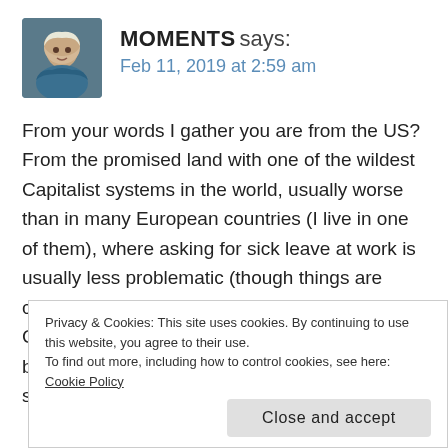MOMENTS says: Feb 11, 2019 at 2:59 am
From your words I gather you are from the US? From the promised land with one of the wildest Capitalist systems in the world, usually worse than in many European countries (I live in one of them), where asking for sick leave at work is usually less problematic (though things are changing)? And you have doxxers? Ciberbullies? God, I want to send you all the best energy and courage to overcome this situation, to have better health. I am sure this
Privacy & Cookies: This site uses cookies. By continuing to use this website, you agree to their use.
To find out more, including how to control cookies, see here: Cookie Policy
Close and accept